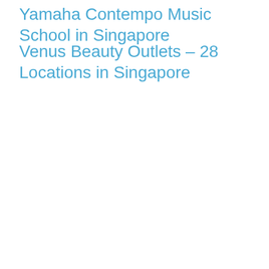Yamaha Contempo Music School in Singapore
Venus Beauty Outlets – 28 Locations in Singapore